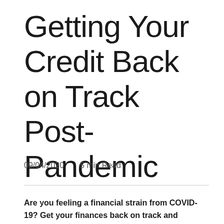Getting Your Credit Back on Track Post-Pandemic
09/04/2020    5 min Read
Are you feeling a financial strain from COVID-19? Get your finances back on track and